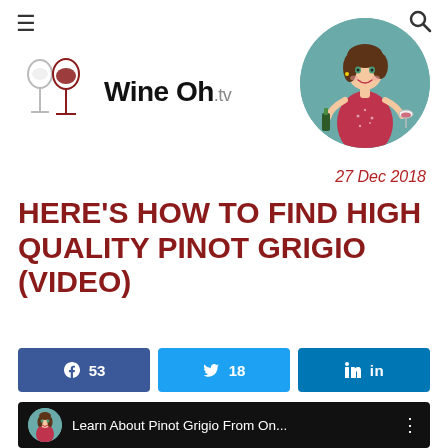≡   Wine Oh.tv   🔍
[Figure (illustration): Cartoon illustration of a woman in a red sparkly dress holding a wine bottle and wine glass, set against a teal circular background, serving as the WineOh.tv mascot/avatar]
[Figure (logo): Wine Oh.tv logo with two wine glass silhouettes (one white, one red) and the text 'Wine Oh.tv']
27 Dec 2018
HERE'S HOW TO FIND HIGH QUALITY PINOT GRIGIO (VIDEO)
[Figure (infographic): Social share buttons: Facebook (53 shares), Twitter (18 shares), LinkedIn (share button)]
[Figure (screenshot): Video thumbnail showing WineOh.tv avatar and text 'Learn About Pinot Grigio From On...' with a three-dot menu icon on a dark background]